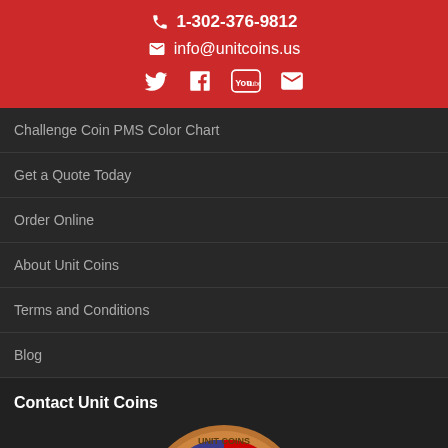1-302-376-9812
info@unitcoins.us
[Figure (infographic): Social media icons: Twitter, Facebook, YouTube, Email]
Challenge Coin PMS Color Chart
Get a Quote Today
Order Online
About Unit Coins
Terms and Conditions
Blog
Contact Unit Coins
[Figure (photo): Unit Coins challenge coin with American flag design, partially visible at bottom of page. Back-to-top button with upward arrow chevron in bottom right.]